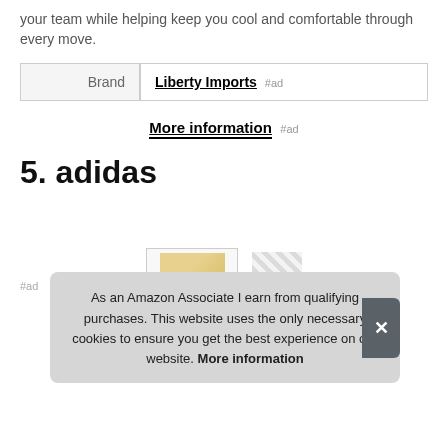your team while helping keep you cool and comfortable through every move.
| Brand | Liberty Imports #ad |
| --- | --- |
More information #ad
5. adidas
#ad
As an Amazon Associate I earn from qualifying purchases. This website uses the only necessary cookies to ensure you get the best experience on our website. More information